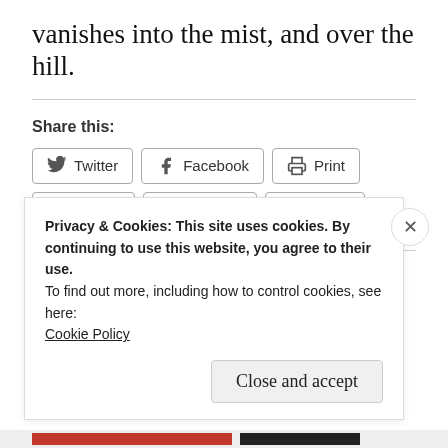vanishes into the mist, and over the hill.
Share this:
Twitter Facebook Print Tumblr LinkedIn Reddit
Loading...
Privacy & Cookies: This site uses cookies. By continuing to use this website, you agree to their use.
To find out more, including how to control cookies, see here:
Cookie Policy
Close and accept